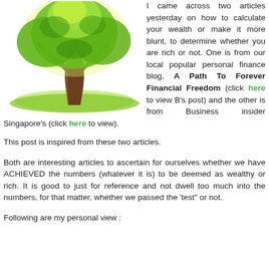[Figure (illustration): Illustration of a tree with green foliage and brown trunk on a green grassy ground, with yellow-green glow behind leaves.]
I came across two articles yesterday on how to calculate your wealth or make it more blunt, to determine whether you are rich or not. One is from our local popular personal finance blog, A Path To Forever Financial Freedom (click here to view B's post) and the other is from Business insider Singapore's (click here to view).
This post is inspired from these two articles.
Both are interesting articles to ascertain for ourselves whether we have ACHIEVED the numbers (whatever it is) to be deemed as wealthy or rich. It is good to just for reference and not dwell too much into the numbers, for that matter, whether we passed the 'test" or not.
Following are my personal view :